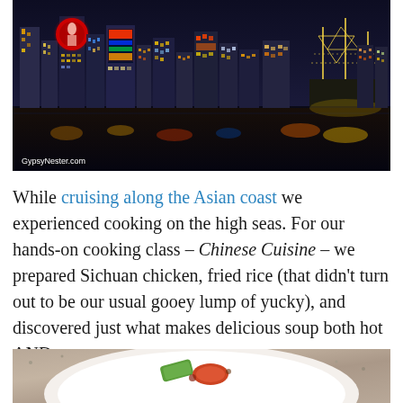[Figure (photo): Night cityscape of an Asian city skyline (likely Hong Kong or Shanghai) with illuminated skyscrapers, neon signs, and a lit decorative sailing ship on the right, reflected in harbor water. Watermark: GypsyNester.com]
While cruising along the Asian coast we experienced cooking on the high seas. For our hands-on cooking class – Chinese Cuisine – we prepared Sichuan chicken, fried rice (that didn't turn out to be our usual gooey lump of yucky), and discovered just what makes delicious soup both hot AND sour.
[Figure (photo): Partial bottom image showing a white plate with food (appears to be Chinese cuisine dish) on a stone/granite surface.]